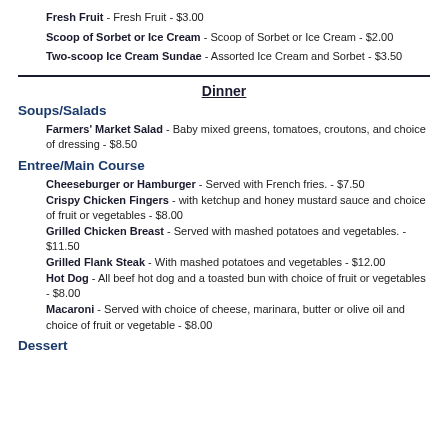Fresh Fruit - Fresh Fruit - $3.00
Scoop of Sorbet or Ice Cream - Scoop of Sorbet or Ice Cream - $2.00
Two-scoop Ice Cream Sundae - Assorted Ice Cream and Sorbet - $3.50
Dinner
Soups/Salads
Farmers' Market Salad - Baby mixed greens, tomatoes, croutons, and choice of dressing - $8.50
Entree/Main Course
Cheeseburger or Hamburger - Served with French fries. - $7.50
Crispy Chicken Fingers - with ketchup and honey mustard sauce and choice of fruit or vegetables - $8.00
Grilled Chicken Breast - Served with mashed potatoes and vegetables. - $11.50
Grilled Flank Steak - With mashed potatoes and vegetables - $12.00
Hot Dog - All beef hot dog and a toasted bun with choice of fruit or vegetables - $8.00
Macaroni - Served with choice of cheese, marinara, butter or olive oil and choice of fruit or vegetable - $8.00
Dessert